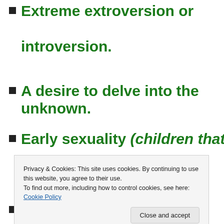Extreme extroversion or introversion.
A desire to delve into the unknown.
Early sexuality (children that masturbate, frequent erections, little
Privacy & Cookies: This site uses cookies. By continuing to use this website, you agree to their use. To find out more, including how to control cookies, see here: Cookie Policy
Experiments with drugs, altering